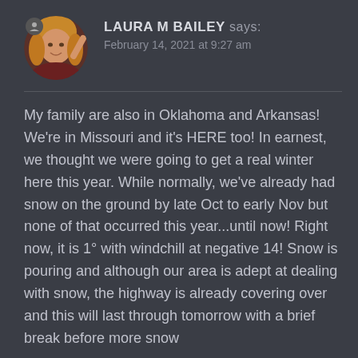[Figure (photo): Circular avatar photo of a woman with blonde hair]
LAURA M BAILEY says:
February 14, 2021 at 9:27 am
My family are also in Oklahoma and Arkansas! We're in Missouri and it's HERE too! In earnest, we thought we were going to get a real winter here this year. While normally, we've already had snow on the ground by late Oct to early Nov but none of that occurred this year...until now! Right now, it is 1° with windchill at negative 14! Snow is pouring and although our area is adept at dealing with snow, the highway is already covering over and this will last through tomorrow with a brief break before more snow